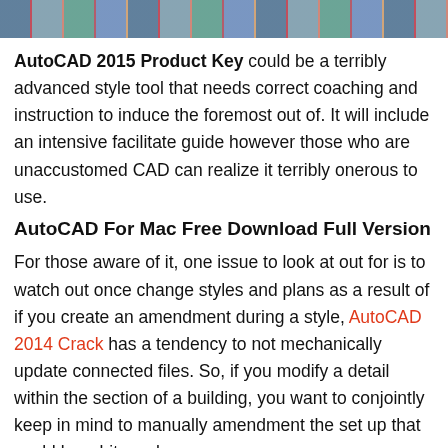[Figure (photo): A horizontal strip of thumbnail images at the top of the page, showing various software or product screenshots in a colorful collage.]
AutoCAD 2015 Product Key could be a terribly advanced style tool that needs correct coaching and instruction to induce the foremost out of. It will include an intensive facilitate guide however those who are unaccustomed CAD can realize it terribly onerous to use.
AutoCAD For Mac Free Download Full Version
For those aware of it, one issue to look at out for is to watch out once change styles and plans as a result of if you create an amendment during a style, AutoCAD 2014 Crack has a tendency to not mechanically update connected files. So, if you modify a detail within the section of a building, you want to conjointly keep in mind to manually amendment the set up that could be a bit cumbersome.